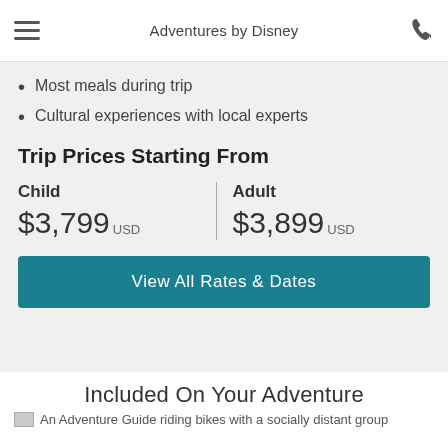Adventures by Disney
Most meals during trip
Cultural experiences with local experts
Trip Prices Starting From
| Child | Adult |
| --- | --- |
| $3,799 USD | $3,899 USD |
View All Rates & Dates
Included On Your Adventure
An Adventure Guide riding bikes with a socially distant group